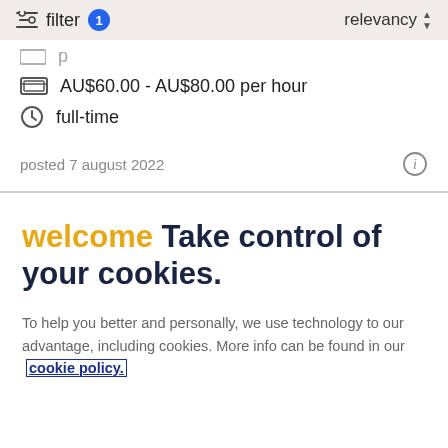filter 1   relevancy
AU$60.00 - AU$80.00 per hour
full-time
posted 7 august 2022
welcome Take control of your cookies.
To help you better and personally, we use technology to our advantage, including cookies. More info can be found in our cookie policy.